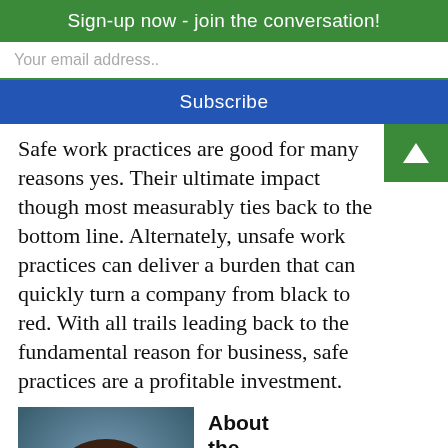Sign-up now - join the conversation!
Your email address..
Subscribe
Safe work practices are good for many reasons yes. Their ultimate impact though most measurably ties back to the bottom line. Alternately, unsafe work practices can deliver a burden that can quickly turn a company from black to red. With all trails leading back to the fundamental reason for business, safe practices are a profitable investment.
[Figure (photo): Portrait photo of a woman with long dark brown hair, wearing earrings, against a teal/blue-grey background.]
About the Author: Cameron Colby is a Senior